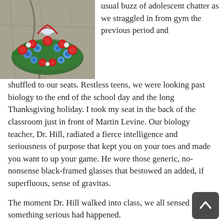[Figure (photo): A wreath made of red, blue, and white flowers placed against a stone or concrete surface, with a white ribbon or flag visible at the top.]
usual buzz of adolescent chatter as we straggled in from gym the previous period and shuffled to our seats. Restless teens, we were looking past biology to the end of the school day and the long Thanksgiving holiday. I took my seat in the back of the classroom just in front of Martin Levine. Our biology teacher, Dr. Hill, radiated a fierce intelligence and seriousness of purpose that kept you on your toes and made you want to up your game. He wore those generic, no-nonsense black-framed glasses that bestowed an added, if superfluous, sense of gravitas.
The moment Dr. Hill walked into class, we all sensed something serious had happened.